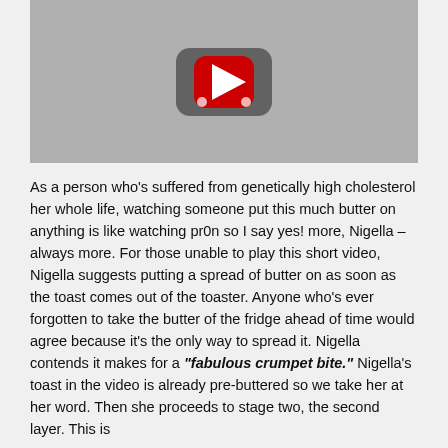[Figure (screenshot): YouTube video thumbnail placeholder showing a red YouTube play button icon on a grey background]
As a person who's suffered from genetically high cholesterol her whole life, watching someone put this much butter on anything is like watching pr0n so I say yes! more, Nigella – always more. For those unable to play this short video, Nigella suggests putting a spread of butter on as soon as the toast comes out of the toaster. Anyone who's ever forgotten to take the butter of the fridge ahead of time would agree because it's the only way to spread it. Nigella contends it makes for a "fabulous crumpet bite." Nigella's toast in the video is already pre-buttered so we take her at her word. Then she proceeds to stage two, the second layer. This is